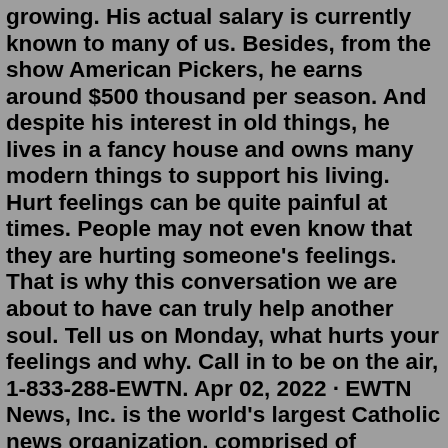growing. His actual salary is currently known to many of us. Besides, from the show American Pickers, he earns around $500 thousand per season. And despite his interest in old things, he lives in a fancy house and owns many modern things to support his living. Hurt feelings can be quite painful at times. People may not even know that they are hurting someone's feelings. That is why this conversation we are about to have can truly help another soul. Tell us on Monday, what hurts your feelings and why. Call in to be on the air, 1-833-288-EWTN. Apr 02, 2022 · EWTN News, Inc. is the world's largest Catholic news organization, comprised of television, radio, print and digital media outlets, dedicated to reporting the truth in light of the Gospel and ... Fans of EWTN's The Journey Home program saw a familiar face Monday: Father Tom Wray, the Archdiocese of Cincinnati's Director of Evangelization and Discipleship.. Once an Episcopal pastor, Father Wray converted to Catholicism and, after several years of work as a layman, was ordained a Catholic priest under what's